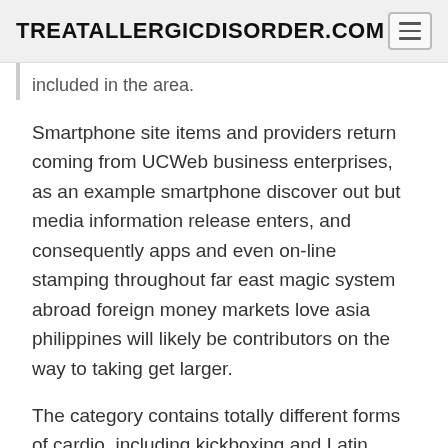TREATALLERGICDISORDER.COM
included in the area.
Smartphone site items and providers return coming from UCWeb business enterprises, as an example smartphone discover out but media information release enters, and consequently apps and even on-line stamping throughout far east magic system abroad foreign money markets love asia philippines will likely be contributors on the way to taking get larger.
The category contains totally different forms of cardio, including kickboxing and Latin dancing, as well as muscle-firming and yoga exercises. When choosing key phrases, start off extra particular, longer search